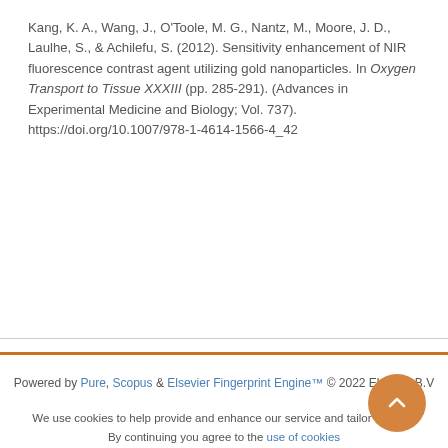Kang, K. A., Wang, J., O'Toole, M. G., Nantz, M., Moore, J. D., Laulhe, S., & Achilefu, S. (2012). Sensitivity enhancement of NIR fluorescence contrast agent utilizing gold nanoparticles. In Oxygen Transport to Tissue XXXIII (pp. 285-291). (Advances in Experimental Medicine and Biology; Vol. 737). https://doi.org/10.1007/978-1-4614-1566-4_42
Powered by Pure, Scopus & Elsevier Fingerprint Engine™ © 2022 Elsevier B.V
We use cookies to help provide and enhance our service and tailor content. By continuing you agree to the use of cookies
Log in to Pure
About web accessibility